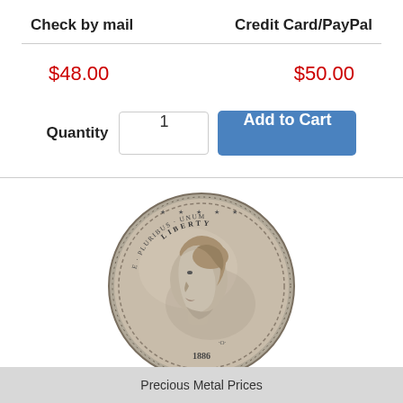| Check by mail | Credit Card/PayPal |
| --- | --- |
| $48.00 | $50.00 |
[Figure (photo): Morgan Silver Dollar coin (obverse), 1886-P, silver coin showing Lady Liberty profile in circulated condition]
1886-P Morgan Silver Dollar Nicely Circulated - Great Set Builder - STOCK
Precious Metal Prices